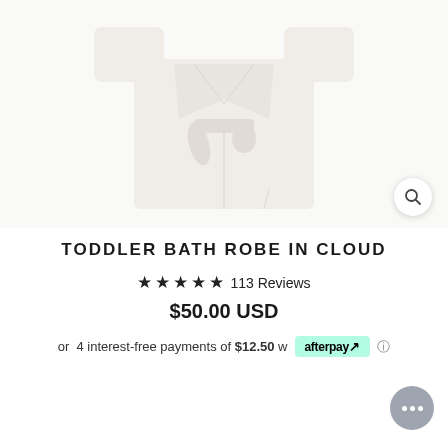[Figure (photo): White toddler bath robe laid flat on white/off-white background, showing the robe's collar, belt tie, and front panels.]
TODDLER BATH ROBE IN CLOUD
★★★★★ 113 Reviews
$50.00 USD
or 4 interest-free payments of $12.50 with afterpay